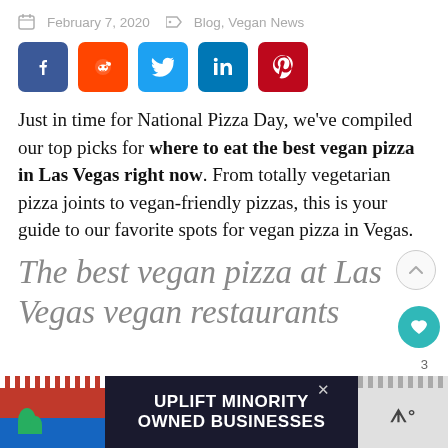February 7, 2020  Blog, Vegan News
[Figure (other): Social share buttons: Facebook (blue), Reddit (orange), Twitter (light blue), LinkedIn (dark blue), Pinterest (red)]
Just in time for National Pizza Day, we've compiled our top picks for where to eat the best vegan pizza in Las Vegas right now. From totally vegetarian pizza joints to vegan-friendly pizzas, this is your guide to our favorite spots for vegan pizza in Vegas.
The best vegan pizza at Las Vegas vegan restaurants
[Figure (other): Advertisement banner: UPLIFT MINORITY OWNED BUSINESSES]